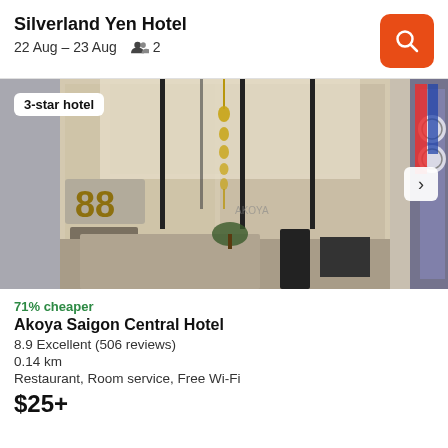Silverland Yen Hotel
22 Aug – 23 Aug  👥 2
[Figure (photo): Hotel lobby interior with marble walls, chandelier, 88 number sign and Akoya branding. Badge reads '3-star hotel'.]
71% cheaper
Akoya Saigon Central Hotel
8.9 Excellent (506 reviews)
0.14 km
Restaurant, Room service, Free Wi-Fi
$25+